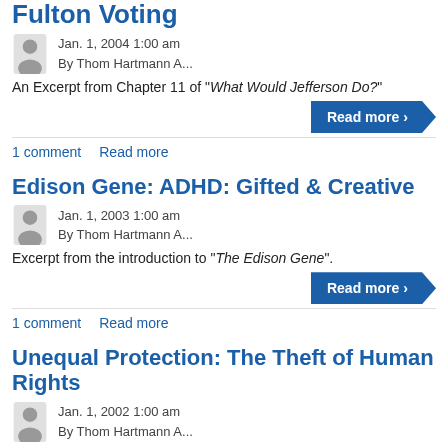Fulton Voting (partial, cropped)
Jan. 1, 2004 1:00 am
By Thom Hartmann A...
An Excerpt from Chapter 11 of "What Would Jefferson Do?"
Read more
1 comment   Read more
Edison Gene: ADHD: Gifted & Creative
Jan. 1, 2003 1:00 am
By Thom Hartmann A...
Excerpt from the introduction to "The Edison Gene".
Read more
1 comment   Read more
Unequal Protection: The Theft of Human Rights
Jan. 1, 2002 1:00 am
By Thom Hartmann A...